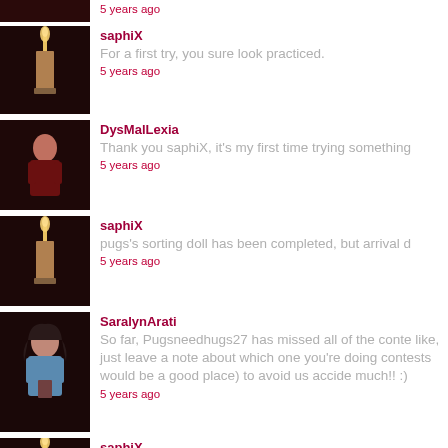5 years ago
saphiX
For a first try, you sure look practiced.
5 years ago
DysMalLexia
Thank you saphiX, it's my first time trying something
5 years ago
saphiX
pugs's sorting doll has been completed, but arrival d
5 years ago
SaralynArati
So far, Pugsneedhugs27 has missed all of the conte like, just leave a note about which one you're doing contests would be a good place) to avoid us accide much!! :)
5 years ago
saphiX
Pretty - 1 pt. Accurate - 1 pt. Intricate - 2 pt. Original - Gryffindor!